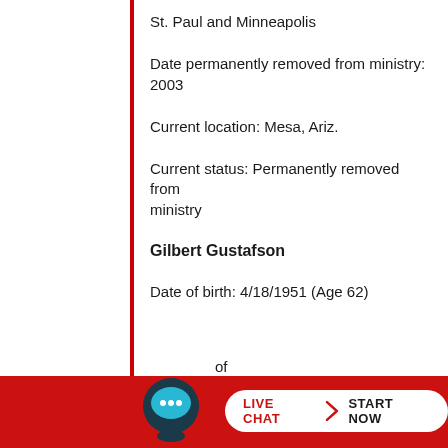St. Paul and Minneapolis
Date permanently removed from ministry: 2003
Current location: Mesa, Ariz.
Current status: Permanently removed from ministry
Gilbert Gustafson
Date of birth: 4/18/1951 (Age 62)
of